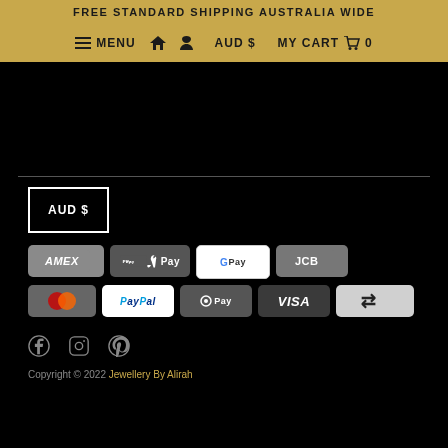FREE STANDARD SHIPPING AUSTRALIA WIDE
≡ MENU  🏠  👤  AUD $  MY CART 🛒 0
[Figure (screenshot): Black section with gold horizontal divider line]
AUD $
[Figure (other): Payment method icons: AMEX, Apple Pay, Google Pay, JCB, Mastercard, PayPal, OPay, VISA, Afterpay]
[Figure (other): Social media icons: Facebook, Instagram, Pinterest]
Copyright © 2022 Jewellery By Alirah